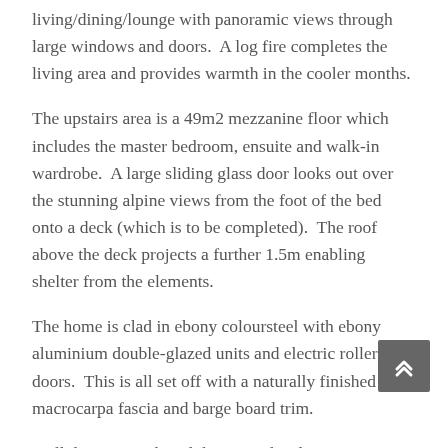living/dining/lounge with panoramic views through large windows and doors.  A log fire completes the living area and provides warmth in the cooler months.
The upstairs area is a 49m2 mezzanine floor which includes the master bedroom, ensuite and walk-in wardrobe.  A large sliding glass door looks out over the stunning alpine views from the foot of the bed onto a deck (which is to be completed).  The roof above the deck projects a further 1.5m enabling shelter from the elements.
The home is clad in ebony coloursteel with ebony aluminium double-glazed units and electric roller doors.  This is all set off with a naturally finished macrocarpa fascia and barge board trim.
Well done to Mark and the Specialised Structures team